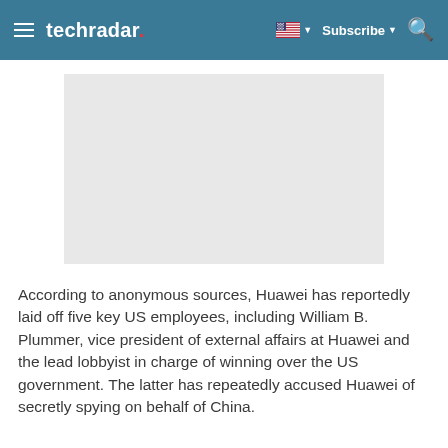techradar | Subscribe
[Figure (photo): Gray placeholder image for an article photo]
According to anonymous sources, Huawei has reportedly laid off five key US employees, including William B. Plummer, vice president of external affairs at Huawei and the lead lobbyist in charge of winning over the US government. The latter has repeatedly accused Huawei of secretly spying on behalf of China.